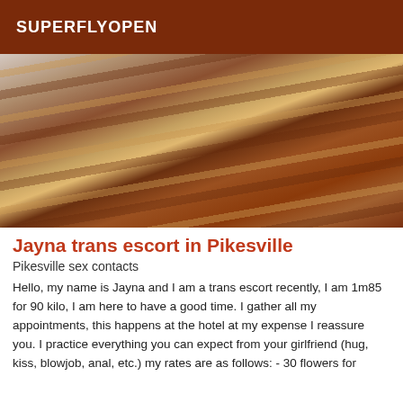SUPERFLYOPEN
[Figure (photo): Close-up photo of a person with long brown and blonde highlighted hair, wearing a light blue shirt and dark jacket, shot from behind/side angle.]
Jayna trans escort in Pikesville
Pikesville sex contacts
Hello, my name is Jayna and I am a trans escort recently, I am 1m85 for 90 kilo, I am here to have a good time. I gather all my appointments, this happens at the hotel at my expense I reassure you. I practice everything you can expect from your girlfriend (hug, kiss, blowjob, anal, etc.) my rates are as follows: - 30 flowers for